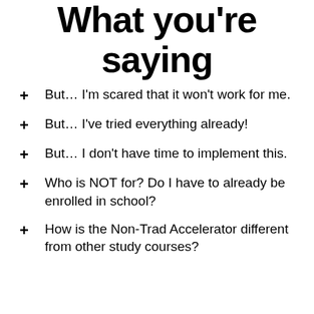What you're saying
But… I'm scared that it won't work for me.
But… I've tried everything already!
But… I don't have time to implement this.
Who is NOT for? Do I have to already be enrolled in school?
How is the Non-Trad Accelerator different from other study courses?